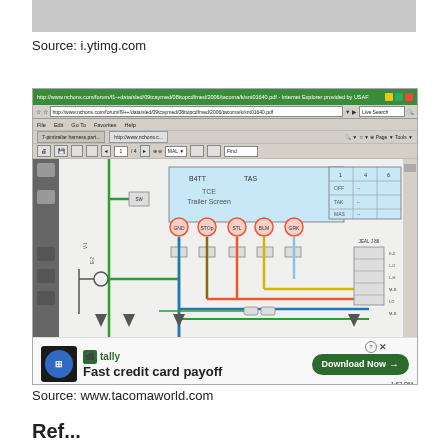[Figure (screenshot): Gray placeholder image bar at top]
Source: i.ytimg.com
[Figure (screenshot): Screenshot of Internet Explorer browser window showing a Toyota Tacoma wiring diagram (electrical schematic with colored wires: green, blue, red, yellow) from nchons.com/forum PDF. Browser toolbar visible at top. Bottom of screenshot shows a Tally advertisement banner with text 'Fast credit card payoff' and 'Download Now' button.]
Source: www.tacomaworld.com
Ref...